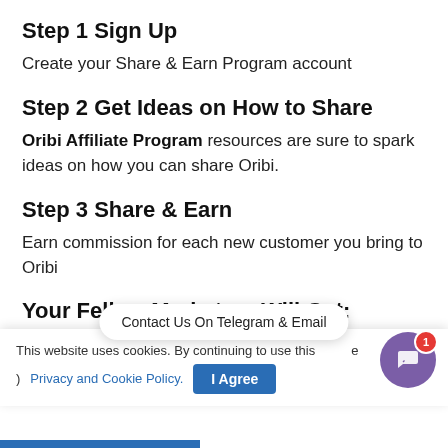Step 1 Sign Up
Create your Share & Earn Program account
Step 2 Get Ideas on How to Share
Oribi Affiliate Program resources are sure to spark ideas on how you can share Oribi.
Step 3 Share & Earn
Earn commission for each new customer you bring to Oribi
Your Fellow Marketers Will Get:
This website uses cookies. By continuing to use this site, you agree to our Privacy and Cookie Policy.
Contact Us On Telegram & Email